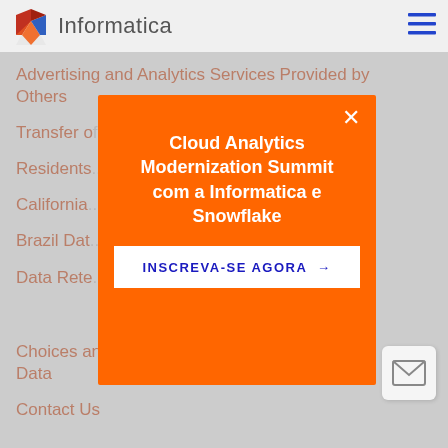Informatica
Advertising and Analytics Services Provided by Others
Transfer of...
Residents...
California...
Brazil Dat...
Data Rete...
Choices and Means to Control Your Personal Data
Contact Us
[Figure (screenshot): Orange modal popup overlay with title 'Cloud Analytics Modernization Summit com a Informatica e Snowflake' and a call-to-action button 'INSCREVA-SE AGORA →' in white text on blue, with a close X button in the top right corner.]